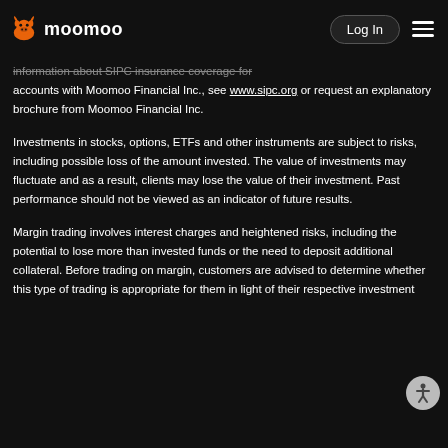moomoo | Log In
information about SIPC insurance coverage for accounts with Moomoo Financial Inc., see www.sipc.org or request an explanatory brochure from Moomoo Financial Inc.
Investments in stocks, options, ETFs and other instruments are subject to risks, including possible loss of the amount invested. The value of investments may fluctuate and as a result, clients may lose the value of their investment. Past performance should not be viewed as an indicator of future results.
Margin trading involves interest charges and heightened risks, including the potential to lose more than invested funds or the need to deposit additional collateral. Before trading on margin, customers are advised to determine whether this type of trading is appropriate for them in light of their respective investment